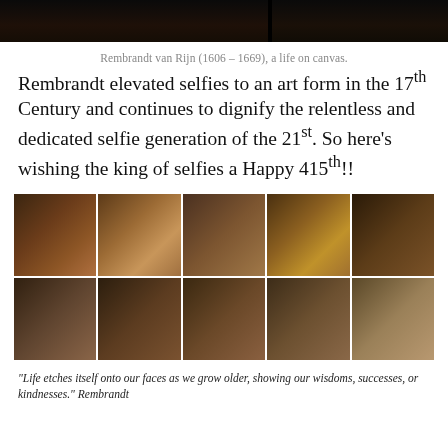[Figure (photo): Two dark portrait images side by side at the top of the page]
Rembrandt van Rijn (1606 – 1669), a life on canvas.
Rembrandt elevated selfies to an art form in the 17th Century and continues to dignify the relentless and dedicated selfie generation of the 21st. So here's wishing the king of selfies a Happy 415th!!
[Figure (photo): A 5×2 grid of Rembrandt self-portrait paintings showing him at various ages]
“Life etches itself onto our faces as we grow older, showing our wisdoms, successes, or kindnesses.” Rembrandt